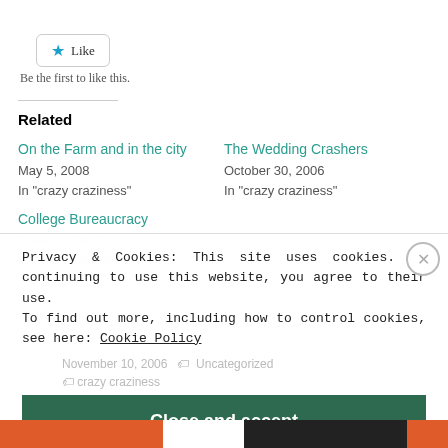[Figure (other): Like button widget with star icon and 'Like' text, styled with border and rounded corners]
Be the first to like this.
Related
On the Farm and in the city
May 5, 2008
In "crazy craziness"
The Wedding Crashers
October 30, 2006
In "crazy craziness"
College Bureaucracy
June 19, 2008
Privacy & Cookies: This site uses cookies. By continuing to use this website, you agree to their use. To find out more, including how to control cookies, see here: Cookie Policy
Close and accept